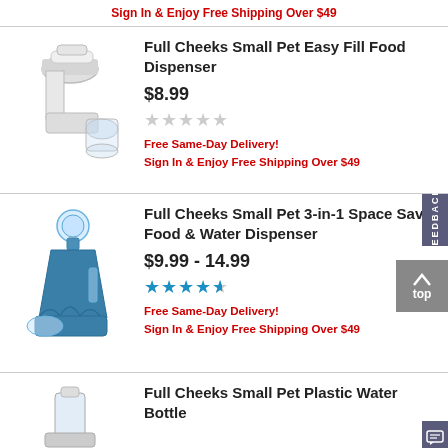Sign In & Enjoy Free Shipping Over $49
[Figure (photo): Full Cheeks Small Pet Easy Fill Food Dispenser product image - white plastic elbow-shaped food dispenser]
Full Cheeks Small Pet Easy Fill Food Dispenser
$8.99
[Figure (other): 5 empty star rating]
Free Same-Day Delivery!
Sign In & Enjoy Free Shipping Over $49
[Figure (photo): Full Cheeks Small Pet 3-in-1 Space Saver Food & Water Dispenser product image - blue plastic dispenser with water bottle on top]
Full Cheeks Small Pet 3-in-1 Space Saver Food & Water Dispenser
$9.99 - 14.99
[Figure (other): 4 and a half star rating in blue]
Free Same-Day Delivery!
Sign In & Enjoy Free Shipping Over $49
[Figure (photo): Full Cheeks Small Pet Plastic Water Bottle product image - partially visible at bottom of page]
Full Cheeks Small Pet Plastic Water Bottle